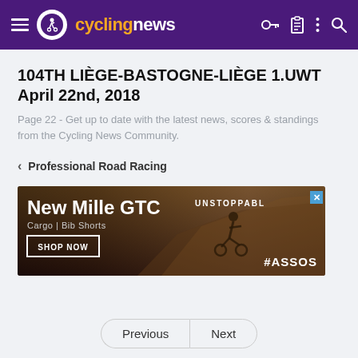cyclingnews
104TH LIÈGE-BASTOGNE-LIÈGE 1.UWT April 22nd, 2018
Page 22 - Get up to date with the latest news, scores & standings from the Cycling News Community.
< Professional Road Racing
[Figure (other): Advertisement banner for New Mille GTC Cargo Bib Shorts with UNSTOPPABLE text and SHOP NOW button]
Previous   Next